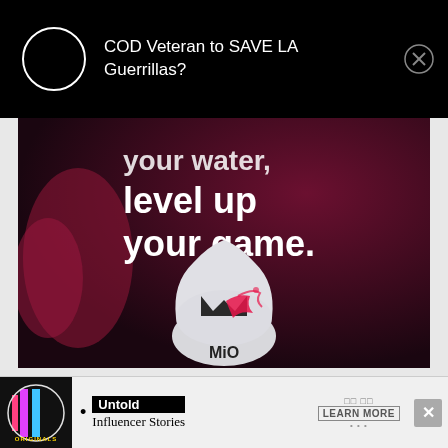[Figure (screenshot): Mobile notification bar on black background showing a circular avatar placeholder and text 'COD Veteran to SAVE LA Guerrillas?' with a close (X) button]
[Figure (photo): MiO water enhancer advertisement with dark red/maroon background. Text reads 'your water, level up your game.' with a white teardrop-shaped MiO bottle showing the MiO logo (dark M with red accent) and 'MiO' text.]
[Figure (screenshot): Bottom advertisement banner for Originals Untold Influencer Stories with LEARN MORE button and X close button]